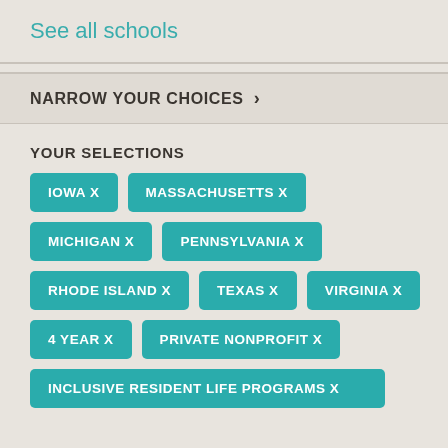See all schools
NARROW YOUR CHOICES >
YOUR SELECTIONS
IOWA X
MASSACHUSETTS X
MICHIGAN X
PENNSYLVANIA X
RHODE ISLAND X
TEXAS X
VIRGINIA X
4 YEAR X
PRIVATE NONPROFIT X
INCLUSIVE RESIDENT LIFE PROGRAMS X